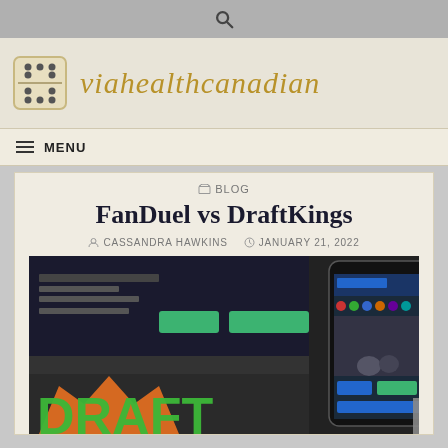viahealthcanadian
MENU
BLOG
FanDuel vs DraftKings
CASSANDRA HAWKINS   JANUARY 21, 2022
[Figure (photo): Photo showing DraftKings and FanDuel apps — laptop screen with DraftKings website and a smartphone showing FanDuel mobile app with sports betting interface, and a partial DraftKings logo (orange crown, green DRAFT text).]